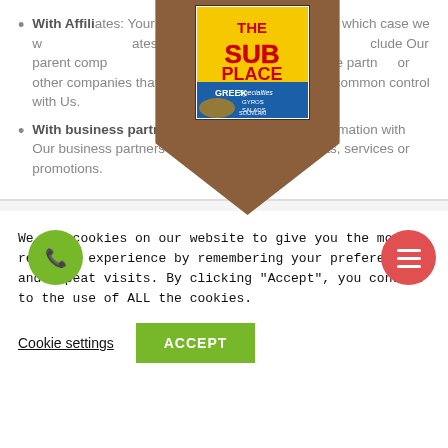With Affiliates: Your information may be shared with Our affiliates, in which case we will require those affiliates to honor this Privacy Policy. Affiliates include Our parent company and any other subsidiaries, joint venture partners or other companies that We control or that are under common control with Us.
With business partners: We may share Your information with Our business partners to offer You certain products, services or promotions.
We use cookies on our website to give you the most relevant experience by remembering your preferences and repeat visits. By clicking “Accept”, you consent to the use of ALL the cookies.
Cookie settings
ACCEPT